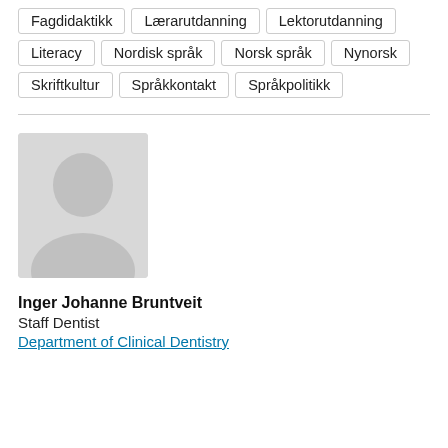Fagdidaktikk
Lærarutdanning
Lektorutdanning
Literacy
Nordisk språk
Norsk språk
Nynorsk
Skriftkultur
Språkkontakt
Språkpolitikk
[Figure (illustration): Generic placeholder avatar silhouette of a person, grey colored]
Inger Johanne Bruntveit
Staff Dentist
Department of Clinical Dentistry